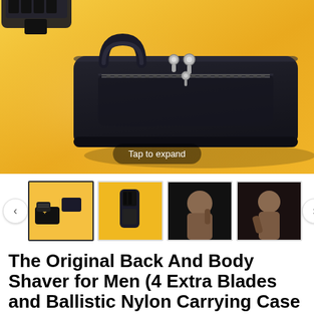[Figure (photo): Main product image: black toiletry/dopp bag on a golden-yellow background with a partial back shaver visible at the top. A 'Tap to expand' button overlay appears at the bottom center.]
[Figure (screenshot): Thumbnail strip with left/right navigation arrows. Four product image thumbnails: first (selected, bordered) shows shaver + bag bundle on yellow background, second shows shaver razor on yellow background, third and fourth show a man using the back shaver (dark background).]
The Original Back And Body Shaver for Men (4 Extra Blades and Ballistic Nylon Carrying Case Included)